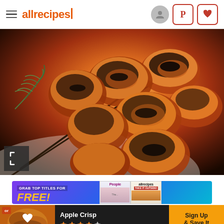allrecipes navigation bar with hamburger menu, logo, account icon, Pinterest icon, save icon
[Figure (photo): Close-up photo of grilled chicken kabobs with charred exterior on skewers, garnished with rosemary sprigs on a white plate]
[Figure (infographic): Advertisement banner: purple to cyan gradient background, text 'GRAB TOP TITLES FOR FREE!' in yellow bold italic, People magazine and allrecipes magazine covers shown]
[Figure (infographic): Bottom notification bar showing Apple Crisp recipe with thumbnail, heart icon, star rating, and 'Sign Up & Save It' call-to-action button in amber]